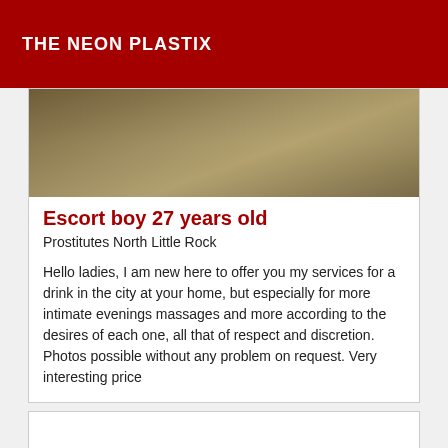THE NEON PLASTIX
[Figure (photo): Blurry outdoor ground/terrain photo with sandy or dusty surface]
Escort boy 27 years old
Prostitutes North Little Rock
Hello ladies, I am new here to offer you my services for a drink in the city at your home, but especially for more intimate evenings massages and more according to the desires of each one, all that of respect and discretion. Photos possible without any problem on request. Very interesting price